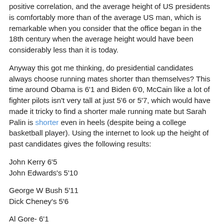positive correlation, and the average height of US presidents is comfortably more than of the average US man, which is remarkable when you consider that the office began in the 18th century when the average height would have been considerably less than it is today.
Anyway this got me thinking, do presidential candidates always choose running mates shorter than themselves? This time around Obama is 6'1 and Biden 6'0, McCain like a lot of fighter pilots isn't very tall at just 5'6 or 5'7, which would have made it tricky to find a shorter male running mate but Sarah Palin is shorter even in heels (despite being a college basketball player). Using the internet to look up the height of past candidates gives the following results:
John Kerry 6'5
John Edwards's 5'10
George W Bush 5'11
Dick Cheney's 5'6
Al Gore- 6'1